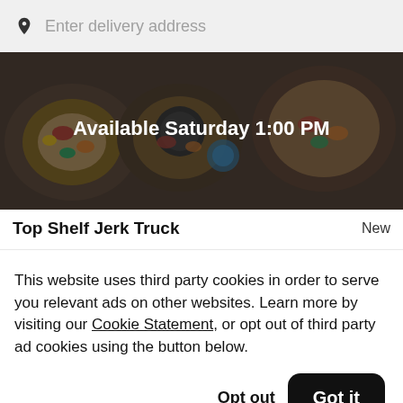Enter delivery address
[Figure (photo): Food truck meal photo with dark overlay showing text 'Available Saturday 1:00 PM']
Top Shelf Jerk Truck
New
This website uses third party cookies in order to serve you relevant ads on other websites. Learn more by visiting our Cookie Statement, or opt out of third party ad cookies using the button below.
Opt out
Got it